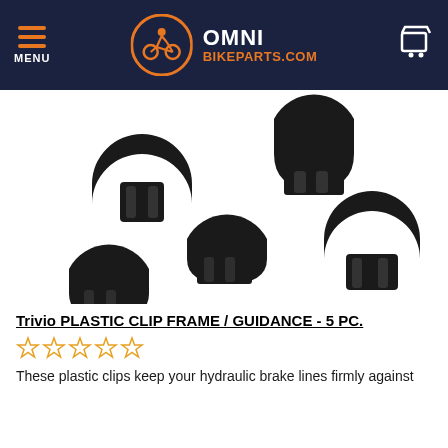MENU | OMNI BIKEPARTS.COM
[Figure (photo): Five black plastic C-shaped cable/brake line guide clips arranged on white background]
Trivio PLASTIC CLIP FRAME / GUIDANCE - 5 PC.
[Figure (other): Five empty star rating icons in orange/yellow outline]
These plastic clips keep your hydraulic brake lines firmly against